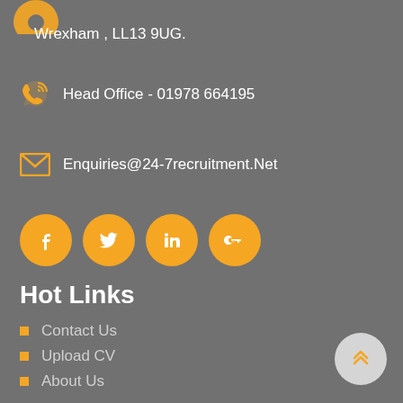[Figure (illustration): Partial orange map pin icon visible at top left corner]
Wrexham , LL13 9UG.
Head Office - 01978 664195
Enquiries@24-7recruitment.Net
[Figure (illustration): Four orange social media circle buttons: Facebook (f), Twitter (bird), LinkedIn (in), Google+ (G+)]
Hot Links
Contact Us
Upload CV
About Us
Privacy Policy
Modern Slavery Statement
[Figure (illustration): Light grey circle button with double chevron up arrow (back to top button)]